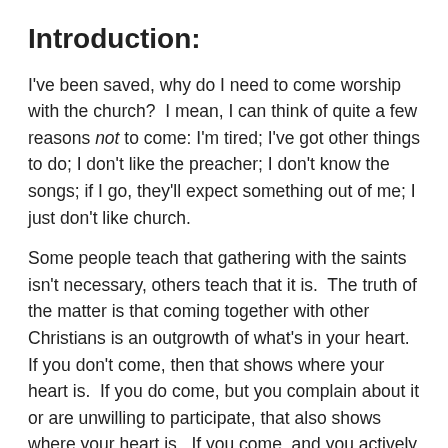Introduction:
I've been saved, why do I need to come worship with the church?  I mean, I can think of quite a few reasons not to come: I'm tired; I've got other things to do; I don't like the preacher; I don't know the songs; if I go, they'll expect something out of me; I just don't like church.
Some people teach that gathering with the saints isn't necessary, others teach that it is.  The truth of the matter is that coming together with other Christians is an outgrowth of what's in your heart.  If you don't come, then that shows where your heart is.  If you do come, but you complain about it or are unwilling to participate, that also shows where your heart is.  If you come, and you actively join in, then that shows where your heart is as well.
We all would (I hope) agree that the Bible is our standard of right and wrong. So to do what's right what the Bible...